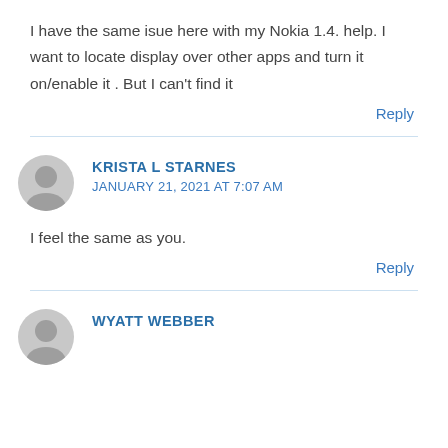I have the same isue here with my Nokia 1.4. help. I want to locate display over other apps and turn it on/enable it . But I can't find it
Reply
KRISTA L STARNES
JANUARY 21, 2021 AT 7:07 AM
I feel the same as you.
Reply
WYATT WEBBER